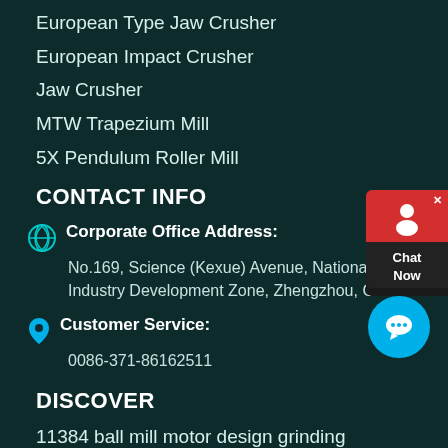European Type Jaw Crusher
European Impact Crusher
Jaw Crusher
MTW Trapezium Mill
5X Pendulum Roller Mill
CONTACT INFO
Corporate Office Address: No.169, Science (Kexue) Avenue, National HI-TECH Industry Development Zone, Zhengzhou, China
Customer Service: 0086-371-86162511
DISCOVER
11384 ball mill motor design grinding
quarrying in mining in cement factory
Cone Crusher Used For Quarry Stone